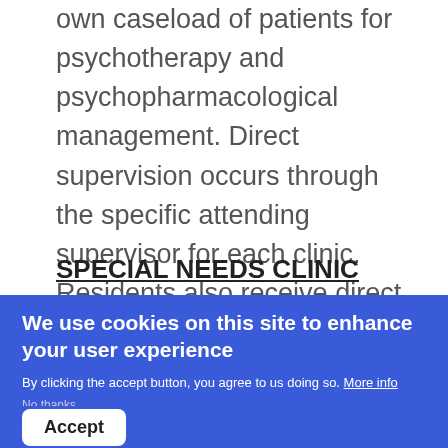own caseload of patients for psychotherapy and psychopharmacological management. Direct supervision occurs through the specific attending supervisor for each clinic. Residents also receive direct supervision by a clinical supervisor and a psychotherapy supervisor.
SPECIAL NEEDS CLINIC
We use cookies on this site to enhance your user experience
By clicking the accept button, you agree to us doing so. More info
No thanks
Accept